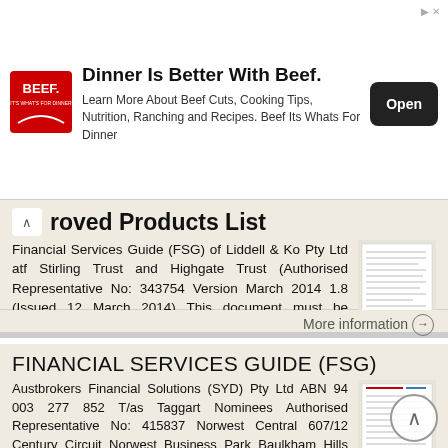[Figure (infographic): Advertisement banner: BEEF logo on left, headline 'Dinner Is Better With Beef.' with body text about beef cuts, cooking tips, nutrition, ranching and recipes. Open button on the right.]
Approved Products List
Financial Services Guide (FSG) of Liddell & Ko Pty Ltd atf Stirling Trust and Highgate Trust (Authorised Representative No: 343754 Version March 2014 1.8 (Issued 12 March 2014) This document must be accompanied
More information →
FINANCIAL SERVICES GUIDE (FSG)
Austbrokers Financial Solutions (SYD) Pty Ltd ABN 94 003 277 852 T/as Taggart Nominees Authorised Representative No: 415837 Norwest Central 607/12 Century Circuit Norwest Business Park Baulkham Hills NSW